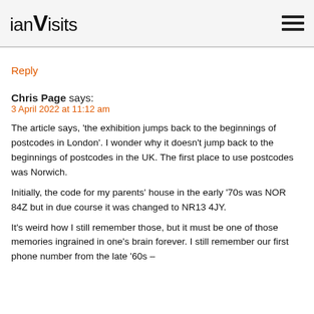ianVisits
Reply
Chris Page says:
3 April 2022 at 11:12 am
The article says, ‘the exhibition jumps back to the beginnings of postcodes in London’. I wonder why it doesn't jump back to the beginnings of postcodes in the UK. The first place to use postcodes was Norwich.
Initially, the code for my parents’ house in the early ‘70s was NOR 84Z but in due course it was changed to NR13 4JY.
It’s weird how I still remember those, but it must be one of those memories ingrained in one’s brain forever. I still remember our first phone number from the late ‘60s –